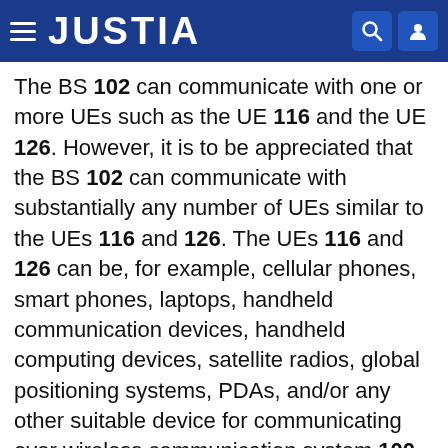JUSTIA
The BS 102 can communicate with one or more UEs such as the UE 116 and the UE 126. However, it is to be appreciated that the BS 102 can communicate with substantially any number of UEs similar to the UEs 116 and 126. The UEs 116 and 126 can be, for example, cellular phones, smart phones, laptops, handheld communication devices, handheld computing devices, satellite radios, global positioning systems, PDAs, and/or any other suitable device for communicating over wireless communication system 100. As depicted, the UE 116 is in communication with the antennas 112 and 114. The antennas 112 and 114 transmit information to the UE 116 over a forward link 118 and receive information from the UE 116 over a reverse link 120. In a frequency division duplex (FDD) system, the forward link 118 can utilize a different frequency band than that used by the reverse link 120, for example. Furthermore, in a division